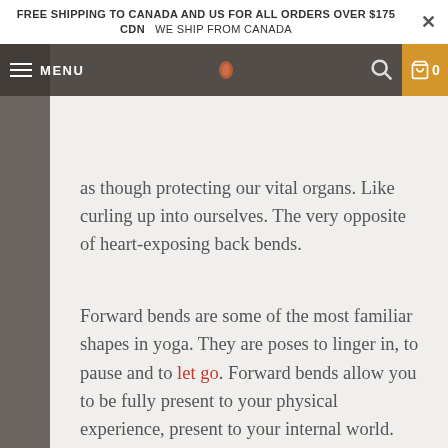FREE SHIPPING TO CANADA AND US FOR ALL ORDERS OVER $175 CDN   WE SHIP FROM CANADA
as though protecting our vital organs. Like curling up into ourselves. The very opposite of heart-exposing back bends.
Forward bends are some of the most familiar shapes in yoga. They are poses to linger in, to pause and to let go. Forward bends allow you to be fully present to your physical experience, present to your internal world.
What exactly is a forward bend?